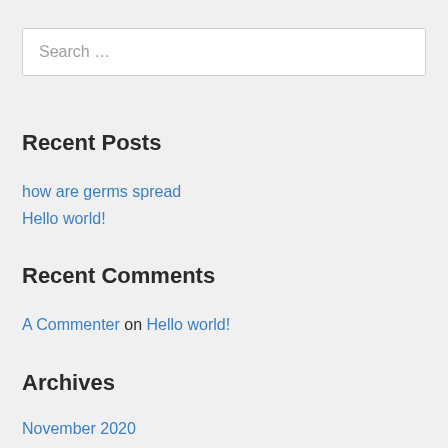Search …
Recent Posts
how are germs spread
Hello world!
Recent Comments
A Commenter on Hello world!
Archives
November 2020